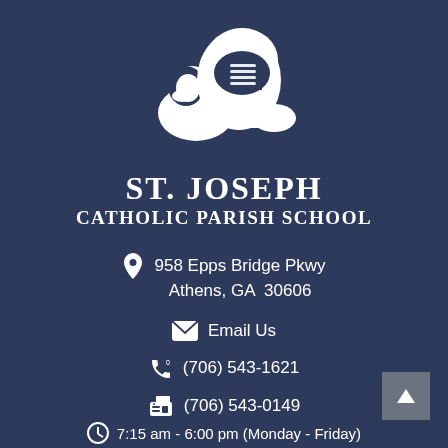[Figure (logo): White knight/crusader helmet mascot logo on dark navy background]
ST. JOSEPH
CATHOLIC PARISH SCHOOL
958 Epps Bridge Pkwy
Athens, GA  30606
Email Us
(706) 543-1621
(706) 543-0149
7:15 am - 6:00 pm (Monday - Friday)